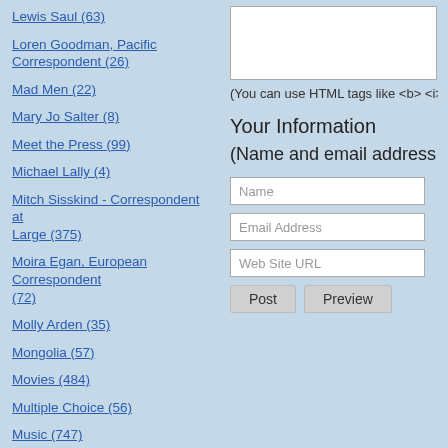Lewis Saul (63)
Loren Goodman, Pacific Correspondent (26)
Mad Men (22)
Mary Jo Salter (8)
Meet the Press (99)
Michael Lally (4)
Mitch Sisskind - Correspondent at Large (375)
Moira Egan, European Correspondent (72)
Molly Arden (35)
Mongolia (57)
Movies (484)
Multiple Choice (56)
Music (747)
New Zealand (18)
Next Line, Please (79)
Nin Andrews (116)
(You can use HTML tags like <b> <i> and <ul> t
Your Information
(Name and email address are re
Name
Email Address
Web Site URL
Post  Preview